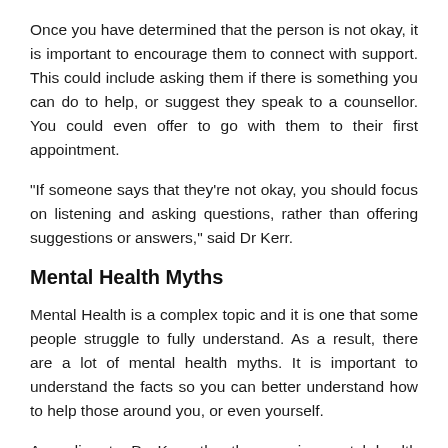Once you have determined that the person is not okay, it is important to encourage them to connect with support. This could include asking them if there is something you can do to help, or suggest they speak to a counsellor. You could even offer to go with them to their first appointment.
"If someone says that they're not okay, you should focus on listening and asking questions, rather than offering suggestions or answers," said Dr Kerr.
Mental Health Myths
Mental Health is a complex topic and it is one that some people struggle to fully understand. As a result, there are a lot of mental health myths. It is important to understand the facts so you can better understand how to help those around you, or even yourself.
According to Dr Kerr, the three main mental health myths